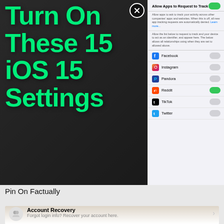[Figure (screenshot): Composite screenshot: left panel shows dark background with large green text 'Turn On These 15 iOS 15 Settings' with a close (X) button. Right panel shows iOS privacy settings with 'Allow Apps to Request to Track' toggle on, and list of apps (Facebook, Instagram, Pandora, Reddit, TikTok, Twitter) with individual tracking toggles.]
Pin On Factually
[Figure (screenshot): Screenshot of account management settings showing: Account Recovery (Forgot login info? Recover your account here.), Unblock Account or Features (Blocked account or feature? Unblock it here.), Freeze Account (If your or your friend's account is hacked or phone is lost, you can freeze the account.), and partially visible 'eeze Account' row. Overlaid with a circle around a blue trash can icon and watermark 'HowToDelete.org' in blue text. Bottom shows a close (X) button.]